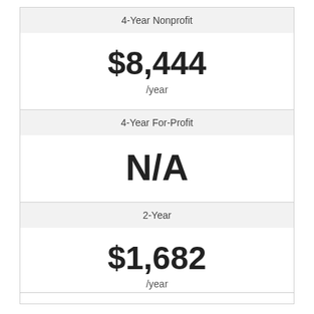4-Year Nonprofit
$8,444 /year
4-Year For-Profit
N/A
2-Year
$1,682 /year